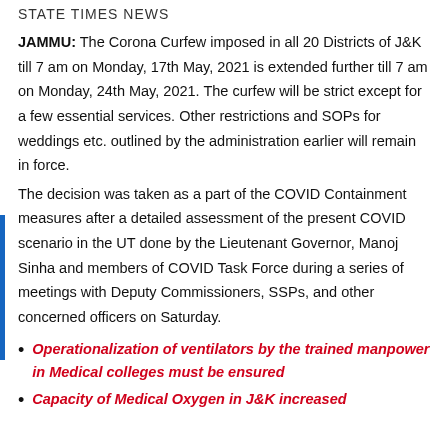STATE TIMES NEWS
JAMMU: The Corona Curfew imposed in all 20 Districts of J&K till 7 am on Monday, 17th May, 2021 is extended further till 7 am on Monday, 24th May, 2021. The curfew will be strict except for a few essential services. Other restrictions and SOPs for weddings etc. outlined by the administration earlier will remain in force.
The decision was taken as a part of the COVID Containment measures after a detailed assessment of the present COVID scenario in the UT done by the Lieutenant Governor, Manoj Sinha and members of COVID Task Force during a series of meetings with Deputy Commissioners, SSPs, and other concerned officers on Saturday.
Operationalization of ventilators by the trained manpower in Medical colleges must be ensured
Capacity of Medical Oxygen in J&K increased